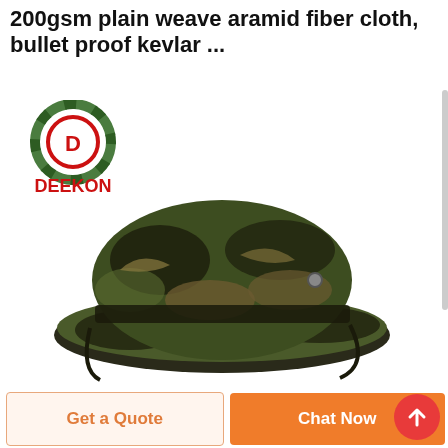200gsm plain weave aramid fiber cloth, bullet proof kevlar ...
[Figure (logo): DEEKON brand logo — circular camouflage-patterned target ring with letter D in red center, and red bold text DEEKON below]
[Figure (photo): Military boonie hat in tiger stripe camouflage pattern (olive, brown, black) with wide brim and adjustable chin strap]
Get a Quote
Chat Now